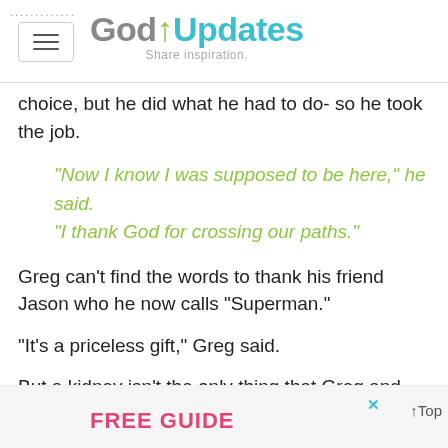GodUpdates — Share inspiration.
choice, but he did what he had to do- so he took the job.
"Now I know I was supposed to be here," he said. "I thank God for crossing our paths."
Greg can't find the words to thank his friend Jason who he now calls "Superman."
"It's a priceless gift," Greg said.
But a kidney isn't the only thing that Greg and Jason will share - they share the same birthday, Aug 3rd.
[Figure (other): Advertisement banner: FREE GUIDE with close button and Top link]